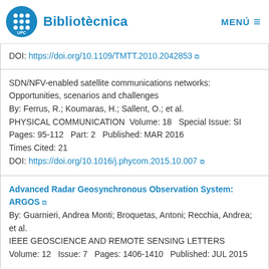Bibliotècnica  MENÚ
DOI: https://doi.org/10.1109/TMTT.2010.2042853
SDN/NFV-enabled satellite communications networks: Opportunities, scenarios and challenges
By: Ferrus, R.; Koumaras, H.; Sallent, O.; et al.
PHYSICAL COMMUNICATION  Volume: 18   Special Issue: SI   Pages: 95-112   Part: 2   Published: MAR 2016
Times Cited: 21
DOI: https://doi.org/10.1016/j.phycom.2015.10.007
Advanced Radar Geosynchronous Observation System: ARGOS
By: Guarnieri, Andrea Monti; Broquetas, Antoni; Recchia, Andrea; et al.
IEEE GEOSCIENCE AND REMOTE SENSING LETTERS  Volume: 12   Issue: 7   Pages: 1406-1410   Published: JUL 2015